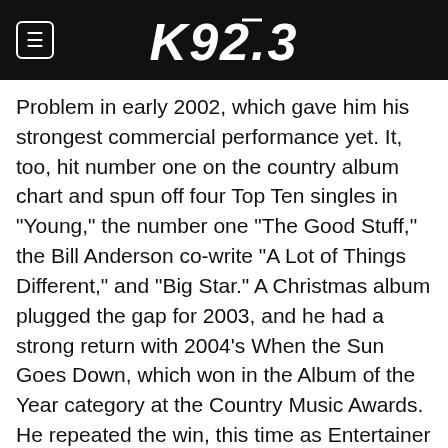K92.3
Problem in early 2002, which gave him his strongest commercial performance yet. It, too, hit number one on the country album chart and spun off four Top Ten singles in "Young," the number one "The Good Stuff," the Bill Anderson co-write "A Lot of Things Different," and "Big Star." A Christmas album plugged the gap for 2003, and he had a strong return with 2004's When the Sun Goes Down, which won in the Album of the Year category at the Country Music Awards. He repeated the win, this time as Entertainer of the Year, with Be as You Are (Songs from an Old Blue Chair). Chesney found himself the subject of much tabloid fodder in 2005 with his surprise marriage to actress Renée Zellweger (he had composed 1999's "You Had Me from Hello" after watching Zellweger in the 1996 film Jerry Maguire). The pair split that same year, citing